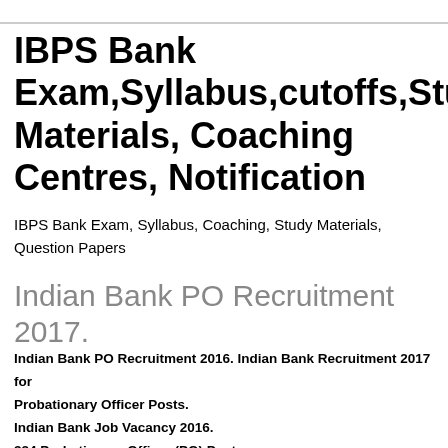IBPS Bank Exam,Syllabus,cutoffs,Study Materials, Coaching Centres, Notification
IBPS Bank Exam, Syllabus, Coaching, Study Materials, Question Papers
Indian Bank PO Recruitment 2017.
Indian Bank PO Recruitment 2016. Indian Bank Recruitment 2017 for Probationary Officer Posts.
Indian Bank Job Vacancy 2016.
324 Probationary Officer (PO) Posts.
Apply online for Indian Bank Recruitment.